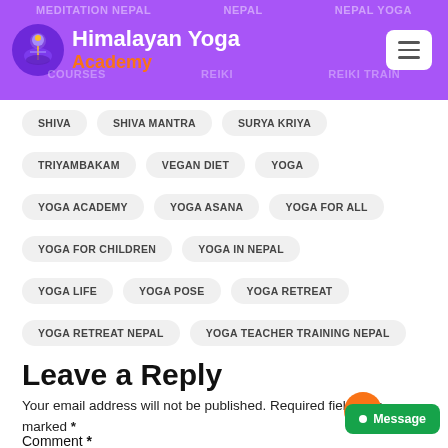Himalayan Yoga Academy
SHIVA
SHIVA MANTRA
SURYA KRIYA
TRIYAMBAKAM
VEGAN DIET
YOGA
YOGA ACADEMY
YOGA ASANA
YOGA FOR ALL
YOGA FOR CHILDREN
YOGA IN NEPAL
YOGA LIFE
YOGA POSE
YOGA RETREAT
YOGA RETREAT NEPAL
YOGA TEACHER TRAINING NEPAL
Leave a Reply
Your email address will not be published. Required fields are marked *
Comment *